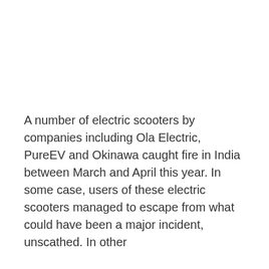A number of electric scooters by companies including Ola Electric, PureEV and Okinawa caught fire in India between March and April this year. In some case, users of these electric scooters managed to escape from what could have been a major incident, unscathed. In other